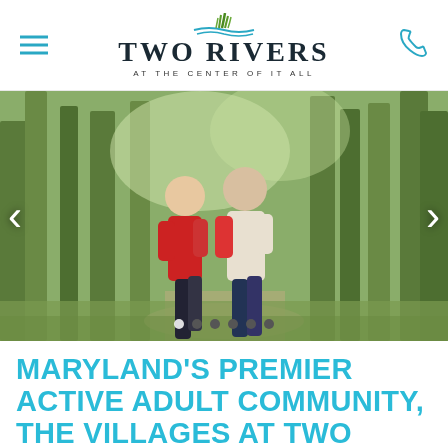Two Rivers — At the Center of It All
[Figure (photo): Two older adults, a woman in a red jacket and a man in a white and red jacket, jogging together on a tree-lined path. Navigation arrows visible on left and right sides. Carousel dots at the bottom.]
MARYLAND'S PREMIER ACTIVE ADULT COMMUNITY, THE VILLAGES AT TWO RIVERS ANNOUNCES THE LAUNCH OF NEW HOME